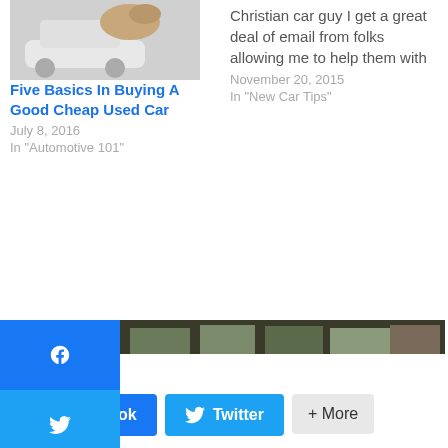[Figure (photo): Thumbnail of a car article]
Christian car guy I get a great deal of email from folks allowing me to help them with
November 20, 2015
In "New Car Tips"
Five Basics In Buying A Good Cheap Used Car
July 8, 2016
In "Automotive 101"
[Figure (photo): To Tell The Truth TV show image with panel and contestants]
To Tell The Truth
November 26, 2016
In "Automotive 101"
Share via:
[Figure (other): Facebook share button]
[Figure (other): Twitter share button]
[Figure (other): More share button]